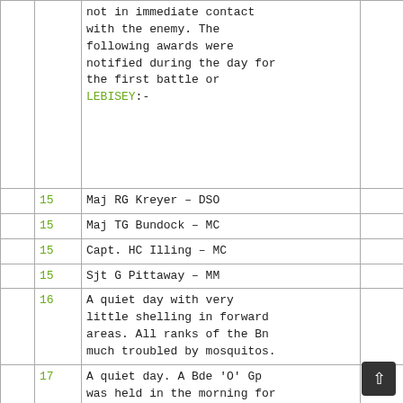|  |  | Entry |  |
| --- | --- | --- | --- |
|  |  | not in immediate contact with the enemy. The following awards were notified during the day for the first battle or LEBISEY:- |  |
|  | 15 | Maj RG Kreyer – DSO |  |
|  | 15 | Maj TG Bundock – MC |  |
|  | 15 | Capt. HC Illing – MC |  |
|  | 15 | Sjt G Pittaway – MM |  |
|  | 16 | A quiet day with very little shelling in forward areas. All ranks of the Bn much troubled by mosquitos. |  |
|  | 17 | A quiet day. A Bde 'O' Gp was held in the morning for the Op to be carried out by the Bde on 18 Jul, which formed part of the big 2nd Army Op to extend the |  |